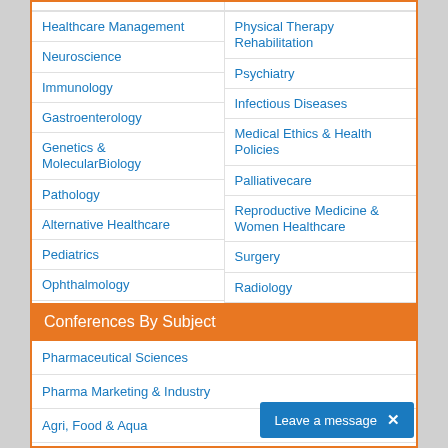Healthcare Management
Physical Therapy Rehabilitation
Neuroscience
Psychiatry
Immunology
Infectious Diseases
Gastroenterology
Medical Ethics & Health Policies
Genetics & MolecularBiology
Palliativecare
Pathology
Reproductive Medicine & Women Healthcare
Alternative Healthcare
Surgery
Pediatrics
Radiology
Ophthalmology
Conferences By Subject
Pharmaceutical Sciences
Pharma Marketing & Industry
Agri, Food & Aqua